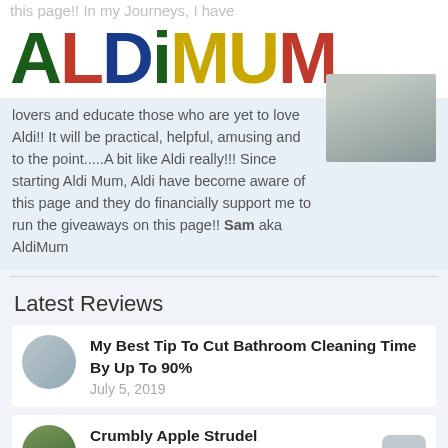[Figure (logo): ALDIMUM logo in large colorful letters: A (dark green), L (red), D (dark blue), I (dark green), M (yellow), U (yellow), M (red) with blue letters mixed]
lovers and educate those who are yet to love Aldi!! It will be practical, helpful, amusing and to the point.....A bit like Aldi really!!! Since starting Aldi Mum, Aldi have become aware of this page and they do financially support me to run the giveaways on this page!! Sam aka AldiMum
Latest Reviews
My Best Tip To Cut Bathroom Cleaning Time By Up To 90%
July 5, 2019
Crumbly Apple Strudel
October 10, 2018